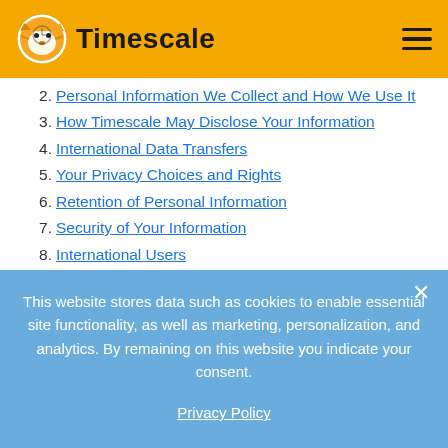Timescale
2. Personal Information We Collect and How We Use It
3. How Timescale May Disclose Your Information
4. International Data Transfers
5. Your Privacy Choices and Rights
6. Retention of Personal Information
7. Security of Your Information
8. International Users
9. Children's Information
10. Other Provisions
This website stores data such as cookies to enable essential site functionality, as well as marketing, personalization, and analytics. By remaining on this website you indicate your consent.
Privacy Policy